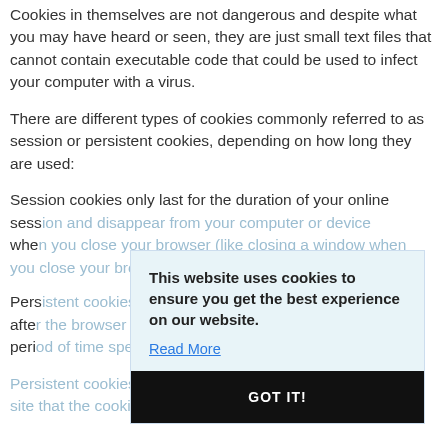Cookies in themselves are not dangerous and despite what you may have heard or seen, they are just small text files that cannot contain executable code that could be used to infect your computer with a virus.
There are different types of cookies commonly referred to as session or persistent cookies, depending on how long they are used:
Session cookies only last for the duration of your online session and disappear from your computer or device when you close your browser (like closing a window when you are done with it).
Persistent cookies stay on your computer or device after the browser has been closed and last for the period of time specified in the cookie.
Persistent cookies are activated each time you visit the site that the cookie was created by. They
[Figure (other): Cookie consent popup overlay with light blue background. Text reads: 'This website uses cookies to ensure you get the best experience on our website.' with a 'Read More' link and a black 'GOT IT!' button.]